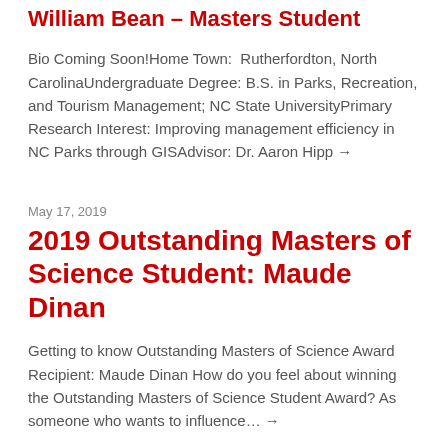William Bean – Masters Student
Bio Coming Soon!Home Town:  Rutherfordton, North CarolinaUndergraduate Degree: B.S. in Parks, Recreation, and Tourism Management; NC State UniversityPrimary Research Interest: Improving management efficiency in NC Parks through GISAdvisor: Dr. Aaron Hipp →
May 17, 2019
2019 Outstanding Masters of Science Student: Maude Dinan
Getting to know Outstanding Masters of Science Award Recipient: Maude Dinan How do you feel about winning the Outstanding Masters of Science Student Award? As someone who wants to influence… →